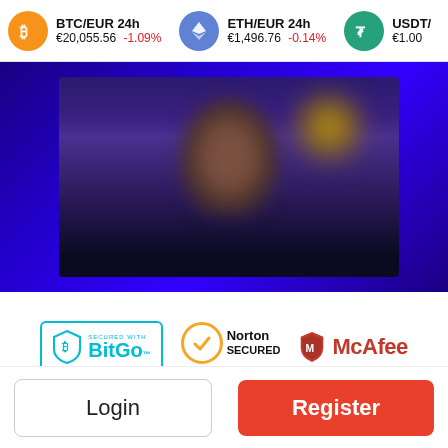BTC/EUR 24h €20,055.56 -1.09% | ETH/EUR 24h €1,496.76 -0.14% | USDT/ €1.00
[Figure (screenshot): Blurred hero image with dark blue background and indistinct figure, part of a cryptocurrency exchange website]
[Figure (logo): BitGo - Secured with BitGo logo in teal/cyan color with shield icon]
[Figure (logo): Norton Secured - powered by Symantec logo with gold checkmark circle]
[Figure (logo): McAfee logo with red shield and text]
Login
Register